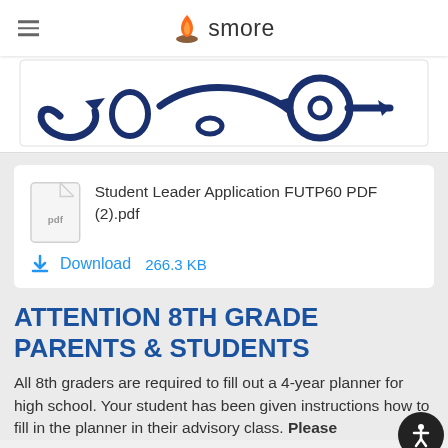smore
[Figure (illustration): Partial view of a decorative illustration with dark blue cartoon-style arrows and circular shapes on white background]
Student Leader Application FUTP60 PDF (2).pdf
Download  266.3 KB
ATTENTION 8TH GRADE PARENTS & STUDENTS
All 8th graders are required to fill out a 4-year planner for high school. Your student has been given instructions how to fill in the planner in their advisory class. Please